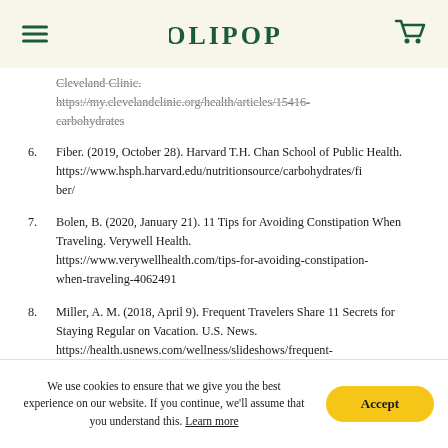OLIPOP
Cleveland Clinic. https://my.clevelandclinic.org/health/articles/15416-carbohydrates
6. Fiber. (2019, October 28). Harvard T.H. Chan School of Public Health. https://www.hsph.harvard.edu/nutritionsource/carbohydrates/fiber/
7. Bolen, B. (2020, January 21). 11 Tips for Avoiding Constipation When Traveling. Verywell Health. https://www.verywellhealth.com/tips-for-avoiding-constipation-when-traveling-4062491
8. Miller, A. M. (2018, April 9). Frequent Travelers Share 11 Secrets for Staying Regular on Vacation. U.S. News. https://health.usnews.com/wellness/slideshows/frequent-travelers-share-11-secrets-for-staying-regular-on-vacation
We use cookies to ensure that we give you the best experience on our website. If you continue, we'll assume that you understand this. Learn more